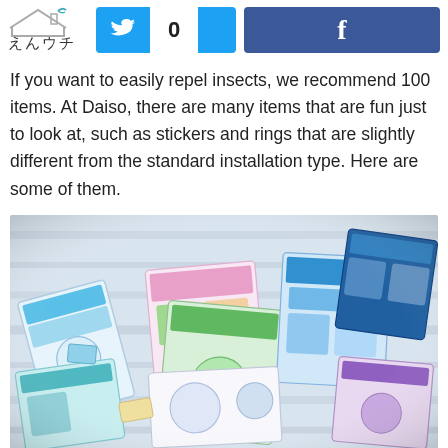えんウチ  [Twitter share button: 0]  [Facebook button]
If you want to easily repel insects, we recommend 100 items. At Daiso, there are many items that are fun just to look at, such as stickers and rings that are slightly different from the standard installation type. Here are some of them.
[Figure (photo): Photo of multiple Daiso insect repellent product packages spread out on a light wooden surface, including stickers and rings in colorful pastel packaging (blue, green, pink, white).]